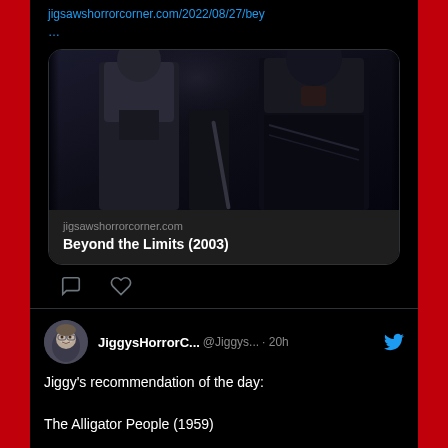jigsawshorrorcorner.com/2022/08/27/bey…
[Figure (screenshot): Dark movie still showing two figures, one in dark clothing on the left and one in dark leather outfit on the right, from the film Beyond the Limits (2003)]
jigsawshorrorcorner.com
Beyond the Limits (2003)
JiggysHorrorC... @Jiggys... · 20h
Jiggy's recommendation of the day:

The Alligator People (1959)

Reminiscence of The Fly, with an element from Invasion of the Body Snatchers. I've